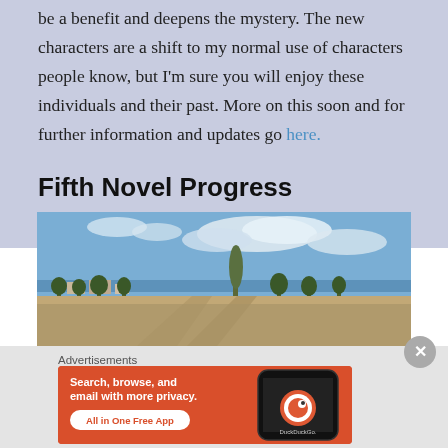be a benefit and deepens the mystery. The new characters are a shift to my normal use of characters people know, but I'm sure you will enjoy these individuals and their past. More on this soon and for further information and updates go here.
Fifth Novel Progress
[Figure (photo): Outdoor landscape photograph showing a flat terrain with dry grass, scattered trees, a tall poplar tree in the center, buildings in the background, and a blue sky with clouds. Water (sea or lake) visible in the far background.]
Advertisements
[Figure (screenshot): DuckDuckGo advertisement banner on orange background. Text reads: Search, browse, and email with more privacy. All in One Free App. Shows a smartphone with DuckDuckGo logo.]